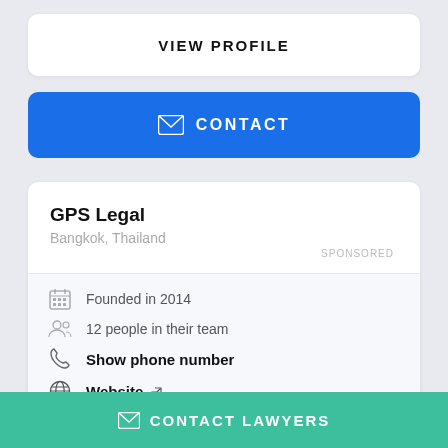VIEW PROFILE
CONTACT
GPS Legal
Bangkok, Thailand
SPONSORED
Founded in 2014
12 people in their team
Show phone number
Website
We are GPS Legal, a full-service law firm providing legal counsel to resident and overseas individuals, local and regional SME's, and global b...
CONTACT LAWYERS